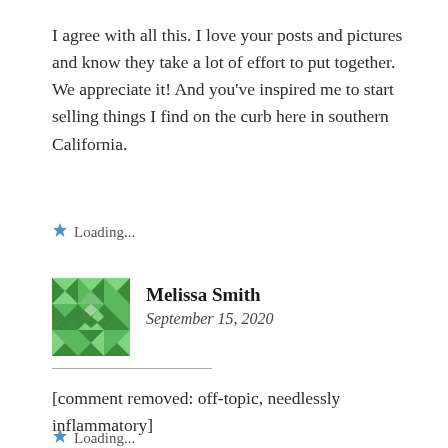I agree with all this. I love your posts and pictures and know they take a lot of effort to put together. We appreciate it! And you've inspired me to start selling things I find on the curb here in southern California.
Loading...
Melissa Smith
September 15, 2020
[comment removed: off-topic, needlessly inflammatory]
Loading...